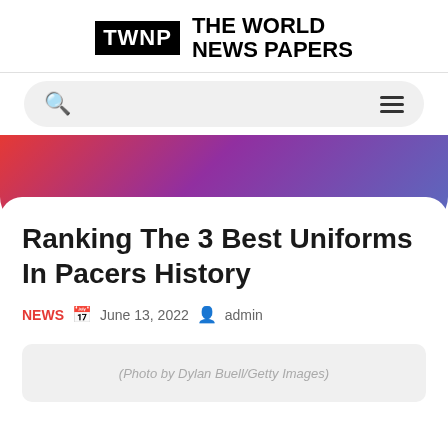TWNP THE WORLD NEWS PAPERS
[Figure (logo): TWNP The World News Papers logo with black box containing TWNP text and bold uppercase text THE WORLD NEWS PAPERS]
Ranking The 3 Best Uniforms In Pacers History
NEWS   June 13, 2022   admin
(Photo by Dylan Buell/Getty Images)